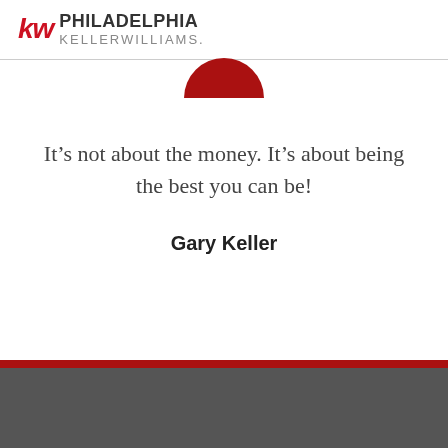kw PHILADELPHIA KELLERWILLIAMS.
[Figure (illustration): Bottom half of a dark red circle, cropped at the top]
It’s not about the money. It’s about being the best you can be!
Gary Keller